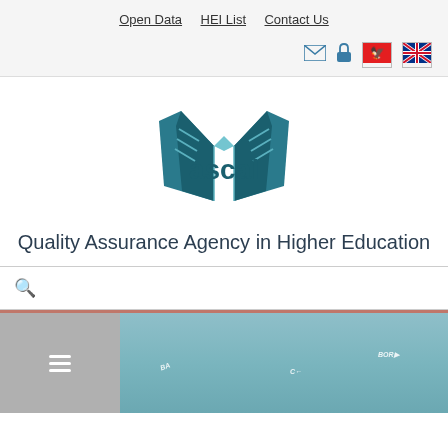Open Data  HEI List  Contact Us
[Figure (logo): ASCAL logo — stylized open book in teal/dark blue with text 'ascal' in dark teal]
Quality Assurance Agency in Higher Education
Search bar with magnifying glass icon
[Figure (screenshot): Navigation bar with hamburger menu icon and map area showing a teal-colored geographic map with partial country/region labels including BOR, and other partial labels]